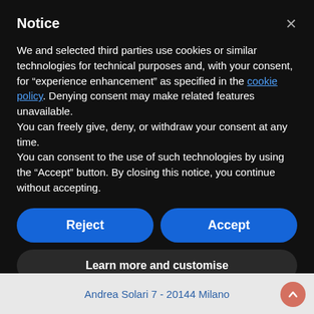Notice
We and selected third parties use cookies or similar technologies for technical purposes and, with your consent, for “experience enhancement” as specified in the cookie policy. Denying consent may make related features unavailable.
You can freely give, deny, or withdraw your consent at any time.
You can consent to the use of such technologies by using the “Accept” button. By closing this notice, you continue without accepting.
Reject
Accept
Learn more and customise
Andrea Solari 7 - 20144 Milano